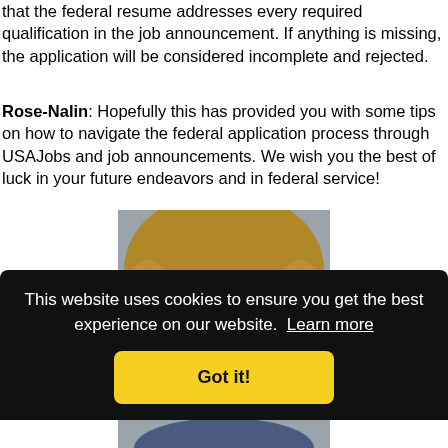that the federal resume addresses every required qualification in the job announcement. If anything is missing, the application will be considered incomplete and rejected.
Rose-Nalin: Hopefully this has provided you with some tips on how to navigate the federal application process through USAJobs and job announcements. We wish you the best of luck in your future endeavors and in federal service!
[Figure (photo): Headshot photo of a woman with blonde hair against a light gray background]
This website uses cookies to ensure you get the best experience on our website. Learn more
Got it!